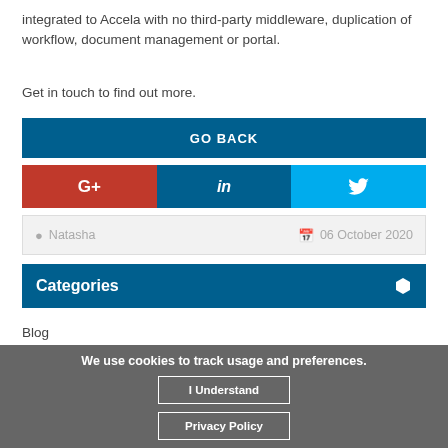integrated to Accela with no third-party middleware, duplication of workflow, document management or portal.
Get in touch to find out more.
GO BACK
[Figure (infographic): Social share buttons: Google+, LinkedIn, Twitter]
Natasha    06 October 2020
Categories
Blog
We use cookies to track usage and preferences.
Insight
News